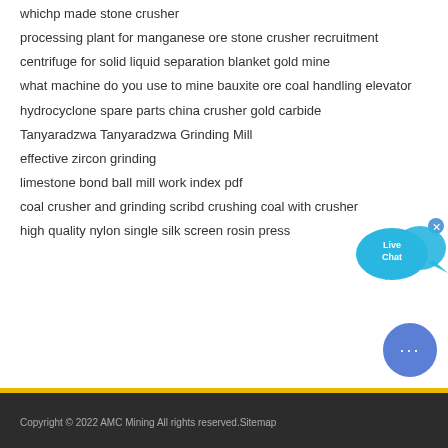whichp made stone crusher
processing plant for manganese ore stone crusher recruitment
centrifuge for solid liquid separation blanket gold mine
what machine do you use to mine bauxite ore coal handling elevator
hydrocyclone spare parts china crusher gold carbide
Tanyaradzwa Tanyaradzwa Grinding Mill
effective zircon grinding
limestone bond ball mill work index pdf
coal crusher and grinding scribd crushing coal with crusher
high quality nylon single silk screen rosin press
[Figure (illustration): Live Chat speech bubble widget in blue/cyan color with close button]
Copyright © 2022 AMC Mining All rights reserved.Sitemap